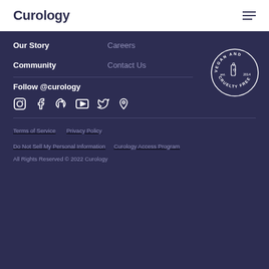Curology
Our Story
Careers
Community
Contact Us
[Figure (logo): Vegan and Cruelty Free badge, circular seal with est. 2014 and bottle icon]
Follow @curology
[Figure (infographic): Social media icons: Instagram, Facebook, Snapchat, YouTube, Twitter, Pinterest]
Terms of Service   Privacy Policy   Do Not Sell My Personal Information   Curology Access Program   All Rights Reserved © 2022 Curology